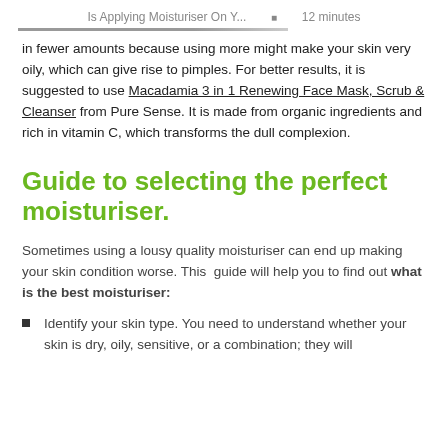Is Applying Moisturiser On Y...  ▪  12 minutes
in fewer amounts because using more might make your skin very oily, which can give rise to pimples. For better results, it is suggested to use Macadamia 3 in 1 Renewing Face Mask, Scrub & Cleanser from Pure Sense. It is made from organic ingredients and rich in vitamin C, which transforms the dull complexion.
Guide to selecting the perfect moisturiser.
Sometimes using a lousy quality moisturiser can end up making your skin condition worse. This  guide will help you to find out what is the best moisturiser:
Identify your skin type. You need to understand whether your skin is dry, oily, sensitive, or a combination; they will